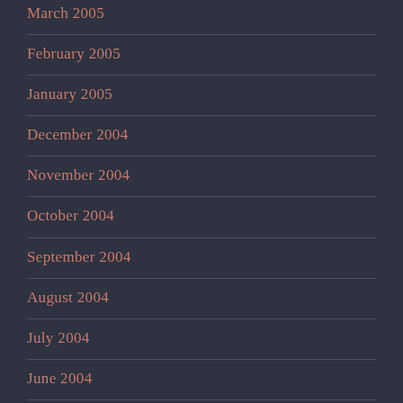March 2005
February 2005
January 2005
December 2004
November 2004
October 2004
September 2004
August 2004
July 2004
June 2004
May 2004
April 2004